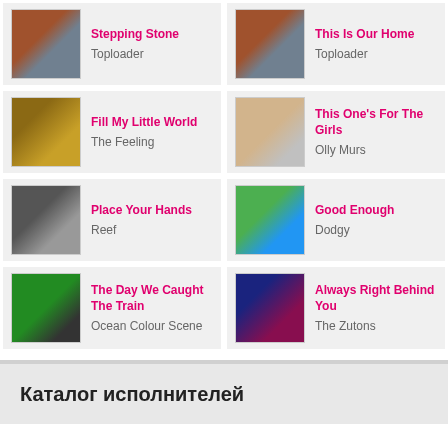Stepping Stone - Toploader
This Is Our Home - Toploader
Fill My Little World - The Feeling
This One's For The Girls - Olly Murs
Place Your Hands - Reef
Good Enough - Dodgy
The Day We Caught The Train - Ocean Colour Scene
Always Right Behind You - The Zutons
Каталог исполнителей